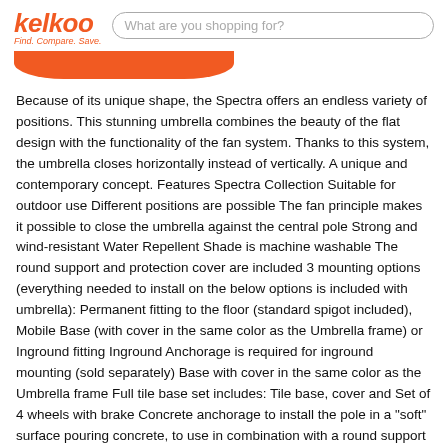kelkoo — Find. Compare. Save. | What are you shopping for?
Because of its unique shape, the Spectra offers an endless variety of positions. This stunning umbrella combines the beauty of the flat design with the functionality of the fan system. Thanks to this system, the umbrella closes horizontally instead of vertically. A unique and contemporary concept. Features Spectra Collection Suitable for outdoor use Different positions are possible The fan principle makes it possible to close the umbrella against the central pole Strong and wind-resistant Water Repellent Shade is machine washable The round support and protection cover are included 3 mounting options (everything needed to install on the below options is included with umbrella): Permanent fitting to the floor (standard spigot included), Mobile Base (with cover in the same color as the Umbrella frame) or Inground fitting Inground Anchorage is required for inground mounting (sold separately) Base with cover in the same color as the Umbrella frame Full tile base set includes: Tile base, cover and Set of 4 wheels with brake Concrete anchorage to install the pole in a "soft" surface pouring concrete, to use in combination with a round support Available with or without Full Tile Base Set by Ground Ancho...